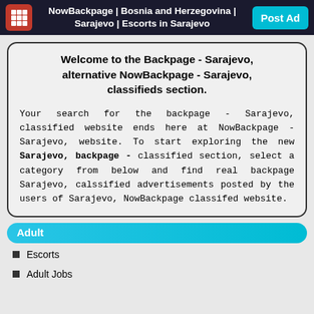NowBackpage | Bosnia and Herzegovina | Sarajevo | Escorts in Sarajevo
Welcome to the Backpage - Sarajevo, alternative NowBackpage - Sarajevo, classifieds section.
Your search for the backpage - Sarajevo, classified website ends here at NowBackpage - Sarajevo, website. To start exploring the new Sarajevo, backpage - classified section, select a category from below and find real backpage Sarajevo, calssified advertisements posted by the users of Sarajevo, NowBackpage classifed website.
Adult
Escorts
Adult Jobs